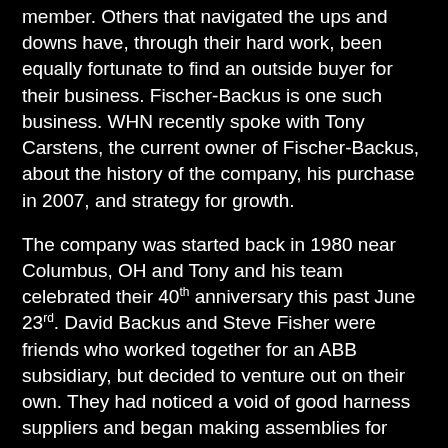member. Others that navigated the ups and downs have, through their hard work, been equally fortunate to find an outside buyer for their business. Fischer-Backus is one such business. WHN recently spoke with Tony Carstens, the current owner of Fischer-Backus, about the history of the company, his purchase in 2007, and strategy for growth.
The company was started back in 1980 near Columbus, OH and Tony and his team celebrated their 40th anniversary this past June 23rd. David Backus and Steve Fisher were friends who worked together for an ABB subsidiary, but decided to venture out on their own. They had noticed a void of good harness suppliers and began making assemblies for ABB. In the beginning, that one customer represented a large chunk of the business. After about a year, Steve wanted out, and